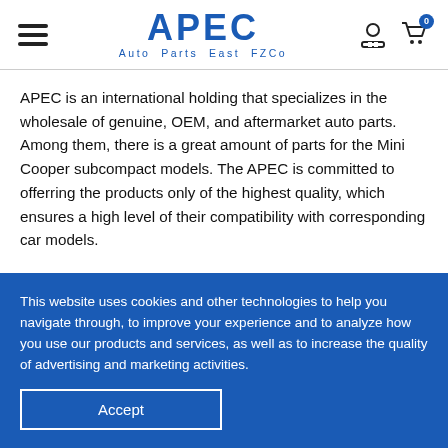APEC Auto Parts East FZCo
APEC is an international holding that specializes in the wholesale of genuine, OEM, and aftermarket auto parts. Among them, there is a great amount of parts for the Mini Cooper subcompact models. The APEC is committed to offerring the products only of the highest quality, which ensures a high level of their compatibility with corresponding car models.
Wholesale car parts for Mini
This website uses cookies and other technologies to help you navigate through, to improve your experience and to analyze how you use our products and services, as well as to increase the quality of advertising and marketing activities.